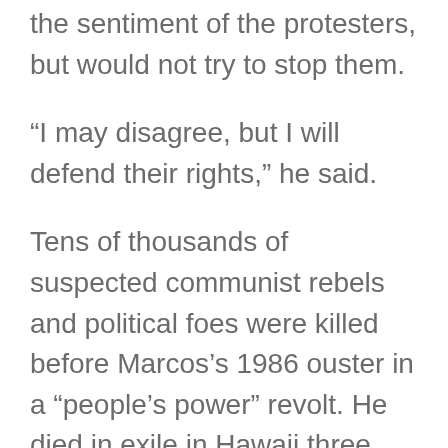Duterte said though he did not share the sentiment of the protesters, but would not try to stop them.
“I may disagree, but I will defend their rights,” he said.
Tens of thousands of suspected communist rebels and political foes were killed before Marcos’s 1986 ouster in a “people’s power” revolt. He died in exile in Hawaii three years later.
In 1986, a commission was created to recover the Marcos family wealth